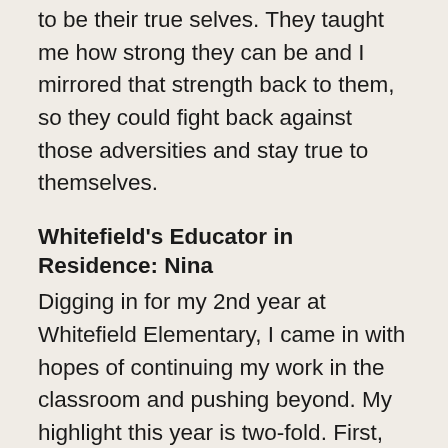to be their true selves. They taught me how strong they can be and I mirrored that strength back to them, so they could fight back against those adversities and stay true to themselves.
Whitefield's Educator in Residence: Nina
Digging in for my 2nd year at Whitefield Elementary, I came in with hopes of continuing my work in the classroom and pushing beyond. My highlight this year is two-fold. First, working with the principal and community to cultivate an afterschool program significantly deepened my connection to the students and parents here. The program not only created a heal afterschool option to students grades 3-5 who